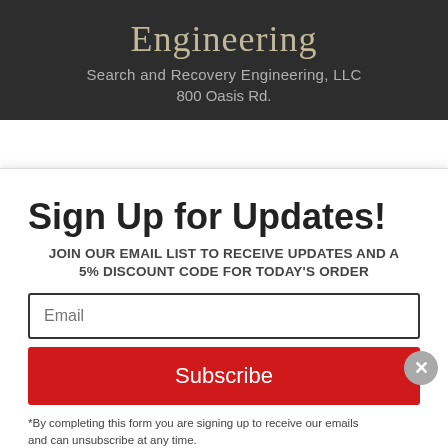Engineering
Search and Recovery Engineering, LLC
800 Oasis Rd.
Sign Up for Updates!
JOIN OUR EMAIL LIST TO RECEIVE UPDATES AND A 5% DISCOUNT CODE FOR TODAY'S ORDER
Email
Subscribe
*By completing this form you are signing up to receive our emails and can unsubscribe at any time.